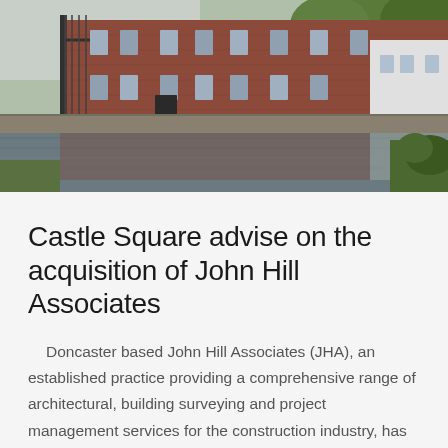[Figure (photo): Photograph of a red brick building alongside a canal or river, with water reflecting the building. Trees and green vegetation visible on the right side. Appears to be a converted mill or industrial building in Yorkshire, England.]
Castle Square advise on the acquisition of John Hill Associates
Doncaster based John Hill Associates (JHA), an established practice providing a comprehensive range of architectural, building surveying and project management services for the construction industry, has been acquired by Diskin Capital Partners (DCP) Group. Yorkshire based dealmakers Castle